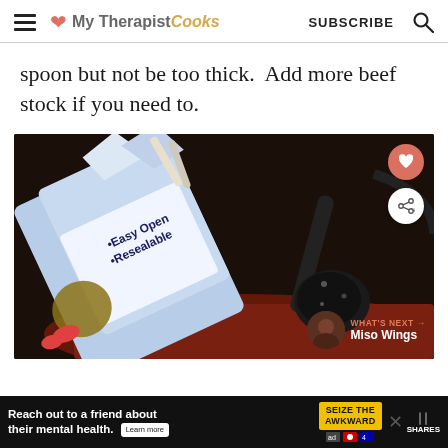My Therapist Cooks | SUBSCRIBE
spoon but not be too thick.  Add more beef stock if you need to.
[Figure (photo): A blue beef stock carton labeled 'Easy Open Resealable' being poured into a dark pan, with a ladle visible in background. A 'WHAT'S NEXT → Miso Wings' overlay appears in the bottom right.]
Reach out to a friend about their mental health. Learn more | SEIZE THE AWKWARD